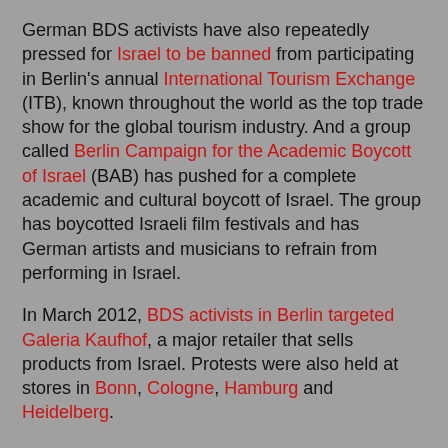German BDS activists have also repeatedly pressed for Israel to be banned from participating in Berlin's annual International Tourism Exchange (ITB), known throughout the world as the top trade show for the global tourism industry. And a group called Berlin Campaign for the Academic Boycott of Israel (BAB) has pushed for a complete academic and cultural boycott of Israel. The group has boycotted Israeli film festivals and has German artists and musicians to refrain from performing in Israel.
In March 2012, BDS activists in Berlin targeted Galeria Kaufhof, a major retailer that sells products from Israel. Protests were also held at stores in Bonn, Cologne, Hamburg and Heidelberg.
In February, BDS activists in Hamburg targeted a nine-day series of concerts called "Sounds of Israel" that featured Israeli musicians. That same month, BDS activists in Berlin protested Israeli participation in the annual Fruit Logistica trade fair.
In November 2011, BDS activists launched a nationwide